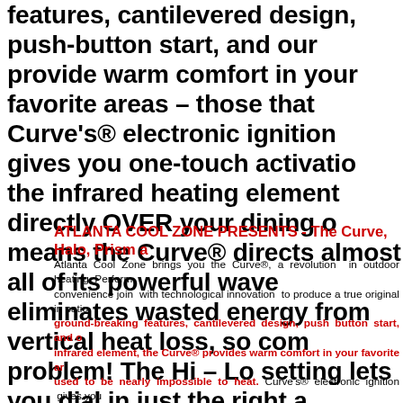features, cantilevered design, push-button start, and our provide warm comfort in your favorite areas – those that Curve's® electronic ignition gives you one-touch activatio the infrared heating element directly OVER your dining o means the Curve® directs almost all of its powerful wave eliminates wasted energy from vertical heat loss, so com problem! The Hi – Lo setting lets you dial in just the right a BTU's of heat over an impressive 10-foot radius for a 10 h propane tank. The PRISM and the AXIS are beautiful visua 770-317-5210 FOR AVAILABILITY AND PRICING
ATLANTA COOL ZONE PRESENTS - The Curve, Halo, Prism a
Atlanta Cool Zone brings you the Curve®, a revolution in outdoor heating. Perform convenience join with technological innovation to produce a true original in patio ground-breaking features, cantilevered design, push button start, and o infrared element, the Curve® provides warm comfort in your favorite ar used to be nearly impossible to heat. Curve's® electronic ignition gives you Our cutting-edge cantilever design puts the infrared heating element directly OVE lounging areas. State of the art engineering means the Curve® directs almost all o wavelength heat downward, and practically eliminates wasted energy from vertica common to traditional heaters. Too warm? No problem! The Hi – Lo setting lets yo right amount of heat. The Curve® delivers 32,000 BTU's of heat over an impressiv 10 hours* of run time on a standard 20 lb propane tank. The PRISM and the AXI